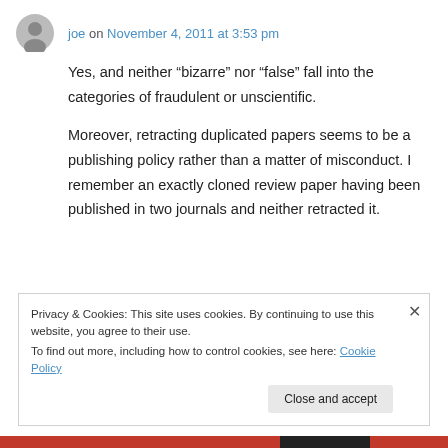joe on November 4, 2011 at 3:53 pm
Yes, and neither “bizarre” nor “false” fall into the categories of fraudulent or unscientific.
Moreover, retracting duplicated papers seems to be a publishing policy rather than a matter of misconduct. I remember an exactly cloned review paper having been published in two journals and neither retracted it.
Privacy & Cookies: This site uses cookies. By continuing to use this website, you agree to their use.
To find out more, including how to control cookies, see here: Cookie Policy